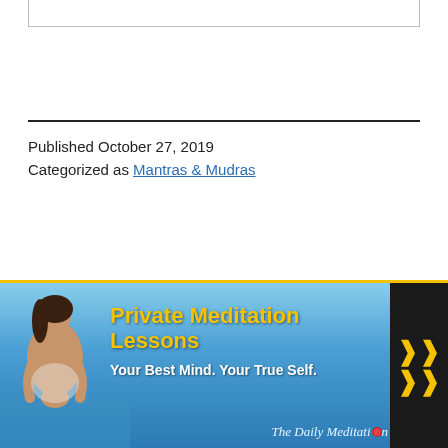Published October 27, 2019
Categorized as Mantras & Mudras
[Figure (illustration): Advertisement banner for Private Meditation Lessons by The Daily Meditation. Shows a woman in prayer pose against ocean/sky background, with yellow bold text 'Private Meditation Lessons', white text 'Your Best Mind. Your True Self.', yellow chevron arrows on dark background, and brand name 'The Daily Meditation'.]